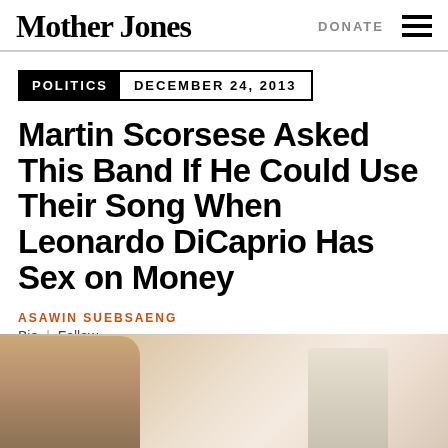Mother Jones | DONATE
POLITICS  DECEMBER 24, 2013
Martin Scorsese Asked This Band If He Could Use Their Song When Leonardo DiCaprio Has Sex on Money
ASAWIN SUEBSAENG
Bio | Follow
[Figure (photo): Partial photo at bottom of page, shows a person and interior scene with muted warm tones]